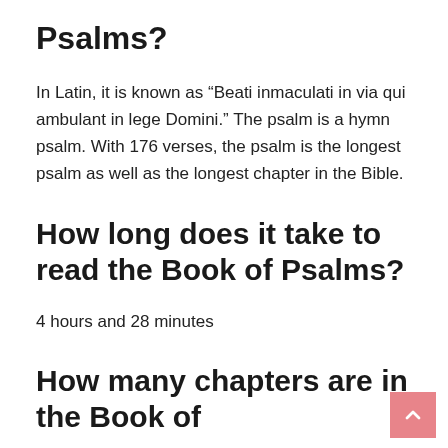Psalms?
In Latin, it is known as “Beati inmaculati in via qui ambulant in lege Domini.” The psalm is a hymn psalm. With 176 verses, the psalm is the longest psalm as well as the longest chapter in the Bible.
How long does it take to read the Book of Psalms?
4 hours and 28 minutes
How many chapters are in the Book of